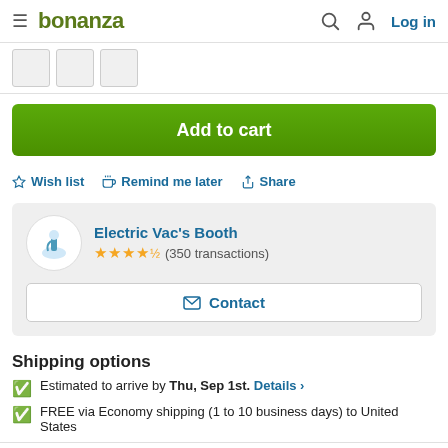bonanza Log in
[Figure (screenshot): Three small thumbnail image boxes partially visible]
[Figure (other): Green 'Add to cart' button]
Wish list  Remind me later  Share
Electric Vac's Booth  ★★★★½ (350 transactions)  Contact
Shipping options
Estimated to arrive by Thu, Sep 1st. Details >
FREE via Economy shipping (1 to 10 business days) to United States
Return policy